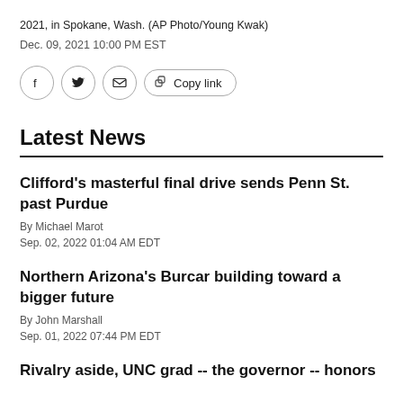2021, in Spokane, Wash. (AP Photo/Young Kwak)
Dec. 09, 2021 10:00 PM EST
[Figure (other): Social share buttons: Facebook, Twitter, Email, Copy link]
Latest News
Clifford's masterful final drive sends Penn St. past Purdue
By Michael Marot
Sep. 02, 2022 01:04 AM EDT
Northern Arizona's Burcar building toward a bigger future
By John Marshall
Sep. 01, 2022 07:44 PM EDT
Rivalry aside, UNC grad -- the governor -- honors